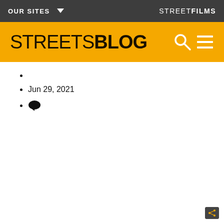OUR SITES   STREETFILMS
STREETSBLOG
Jun 29, 2021
💬